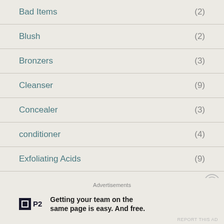Bad Items (2)
Blush (2)
Bronzers (3)
Cleanser (9)
Concealer (3)
conditioner (4)
Exfoliating Acids (9)
Eye Creams (3)
Advertisements
[Figure (logo): P2 logo with tagline: Getting your team on the same page is easy. And free.]